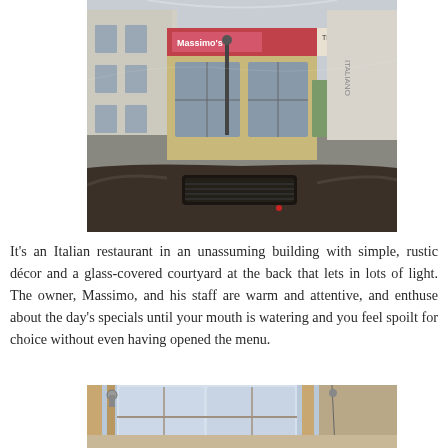[Figure (photo): View from inside a car through the windshield showing a street scene with an Italian restaurant storefront (Massimo's), stone buildings, and a sign reading 'TEL 01...' The car dashboard and air vent are visible in the lower portion of the image.]
It's an Italian restaurant in an unassuming building with simple, rustic décor and a glass-covered courtyard at the back that lets in lots of light. The owner, Massimo, and his staff are warm and attentive, and enthuse about the day's specials until your mouth is watering and you feel spoilt for choice without even having opened the menu.
[Figure (photo): Interior of a glass-covered courtyard restaurant showing wooden beams, a skylight window with natural light coming through, and part of the dining area below.]